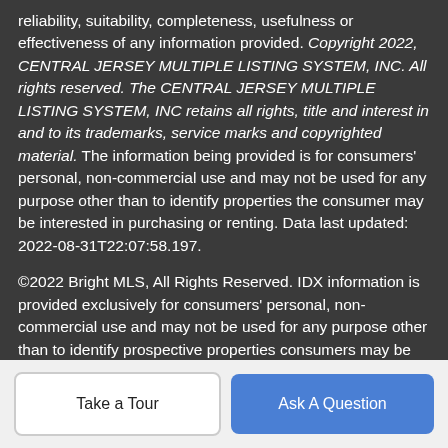reliability, suitability, completeness, usefulness or effectiveness of any information provided. Copyright 2022, CENTRAL JERSEY MULTIPLE LISTING SYSTEM, INC. All rights reserved. The CENTRAL JERSEY MULTIPLE LISTING SYSTEM, INC retains all rights, title and interest in and to its trademarks, service marks and copyrighted material. The information being provided is for consumers' personal, non-commercial use and may not be used for any purpose other than to identify properties the consumer may be interested in purchasing or renting. Data last updated: 2022-08-31T22:07:58.197.
©2022 Bright MLS, All Rights Reserved. IDX information is provided exclusively for consumers' personal, non-commercial use and may not be used for any purpose other than to identify prospective properties consumers may be interested in purchasing. Some properties which appear for sale may no longer be available because they are for instance, under contract, sold, or are no longer being offered for sale. Information is deemed reliable
Take a Tour | Ask A Question